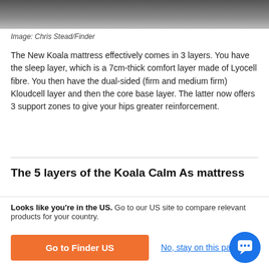[Figure (photo): Partial view of a dark-colored mattress or bedding surface, cropped at the top of the page]
Image: Chris Stead/Finder
The New Koala mattress effectively comes in 3 layers. You have the sleep layer, which is a 7cm-thick comfort layer made of Lyocell fibre. You then have the dual-sided (firm and medium firm) Kloudcell layer and then the core base layer. The latter now offers 3 support zones to give your hips greater reinforcement.
The 5 layers of the Koala Calm As mattress
The Calm As increases that to 5 layers. The top sleep layer gets an added 1cm of plush quilting and ditches the Lyocell
Looks like you're in the US. Go to our US site to compare relevant products for your country.
Go to Finder US
No, stay on this page